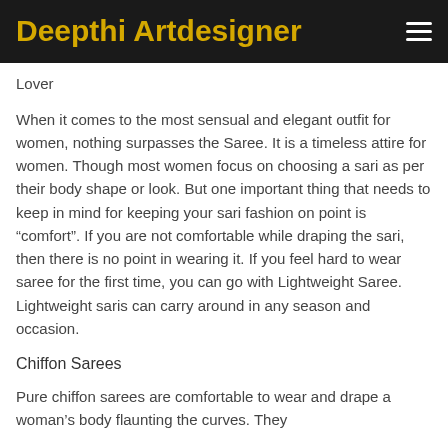Deepthi Artdesigner
Lover
When it comes to the most sensual and elegant outfit for women, nothing surpasses the Saree. It is a timeless attire for women. Though most women focus on choosing a sari as per their body shape or look. But one important thing that needs to keep in mind for keeping your sari fashion on point is “comfort”. If you are not comfortable while draping the sari, then there is no point in wearing it. If you feel hard to wear saree for the first time, you can go with Lightweight Saree. Lightweight saris can carry around in any season and occasion.
Chiffon Sarees
Pure chiffon sarees are comfortable to wear and drape a woman’s body flaunting the curves. They